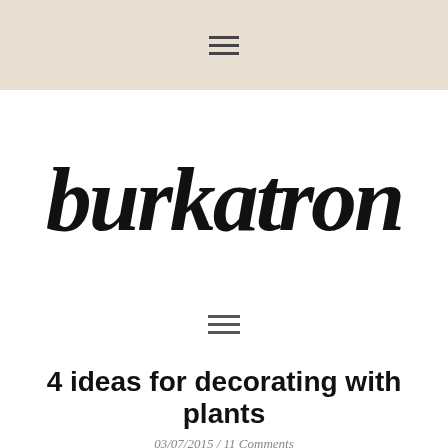≡
[Figure (logo): Burkatron blog logo in handwritten brush script style]
[Figure (other): Hamburger/navigation menu icon with three horizontal lines]
4 ideas for decorating with plants
03/07/2015 / 11 Comments